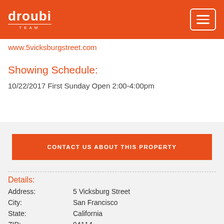droubi TEAM
www.5vicksburgstreet.com
Showing Schedule:
10/22/2017 First Sunday Open 2:00-4:00pm
CONTACT US ABOUT THIS PROPERTY
Details:
| Address: | 5 Vicksburg Street |
| City: | San Francisco |
| State: | California |
| ZIP: | 94114 |